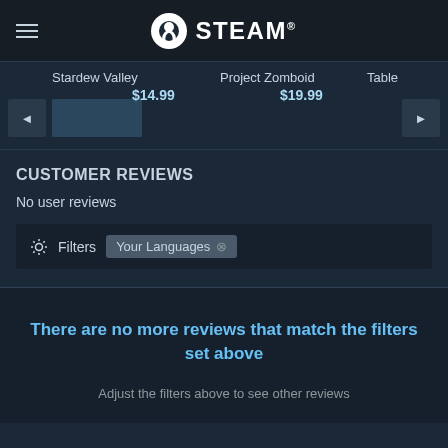STEAM
Stardew Valley $14.99 | Project Zomboid $19.99 | Table
CUSTOMER REVIEWS
No user reviews
Filters  Your Languages ×
There are no more reviews that match the filters set above
Adjust the filters above to see other reviews